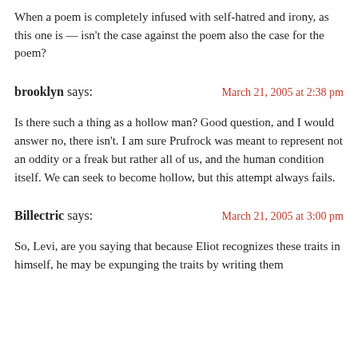When a poem is completely infused with self-hatred and irony, as this one is — isn't the case against the poem also the case for the poem?
brooklyn says:
March 21, 2005 at 2:38 pm
Is there such a thing as a hollow man? Good question, and I would answer no, there isn't. I am sure Prufrock was meant to represent not an oddity or a freak but rather all of us, and the human condition itself. We can seek to become hollow, but this attempt always fails.
Billectric says:
March 21, 2005 at 3:00 pm
So, Levi, are you saying that because Eliot recognizes these traits in himself, he may be expunging the traits by writing them